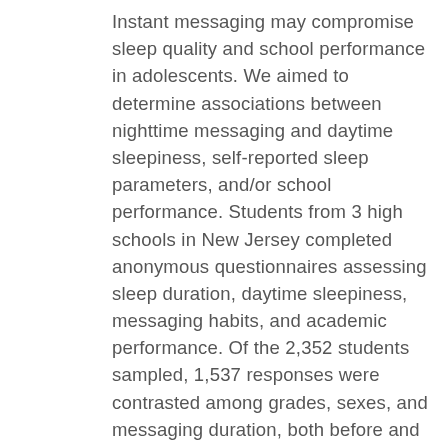Instant messaging may compromise sleep quality and school performance in adolescents. We aimed to determine associations between nighttime messaging and daytime sleepiness, self-reported sleep parameters, and/or school performance. Students from 3 high schools in New Jersey completed anonymous questionnaires assessing sleep duration, daytime sleepiness, messaging habits, and academic performance. Of the 2,352 students sampled, 1,537 responses were contrasted among grades, sexes, and messaging duration, both before and after lights out. Students who reported longer duration of messaging after lights out were more likely to report a shorter sleep duration, higher rate of daytime sleepiness, and poorer academic performance. Messaging before lights out was not associated with higher rates of daytime sleepiness or